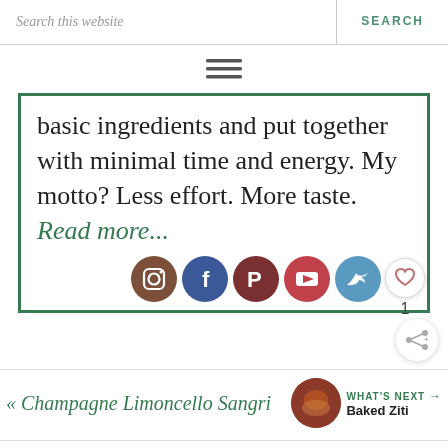Search this website   SEARCH
[Figure (other): Hamburger menu icon (three horizontal lines)]
basic ingredients and put together with minimal time and energy. My motto? Less effort. More taste. Read more...
[Figure (other): Social media icons row: Instagram, Facebook, Pinterest, YouTube, Twitter; with a heart like button showing count 1 and a share button]
« Champagne Limoncello Sangri...    WHAT'S NEXT → Baked Ziti
To the Le Creuset R...